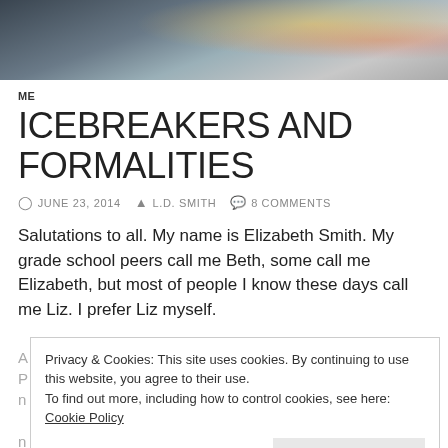[Figure (photo): Banner photo showing drinks on a table, partially cropped at top of page]
ME
ICEBREAKERS AND FORMALITIES
JUNE 23, 2014   L.D. SMITH   8 COMMENTS
Salutations to all. My name is Elizabeth Smith. My grade school peers call me Beth, some call me Elizabeth, but most of people I know these days call me Liz. I prefer Liz myself.
Privacy & Cookies: This site uses cookies. By continuing to use this website, you agree to their use. To find out more, including how to control cookies, see here: Cookie Policy
jobs to keep the stores from leaving, over half of the